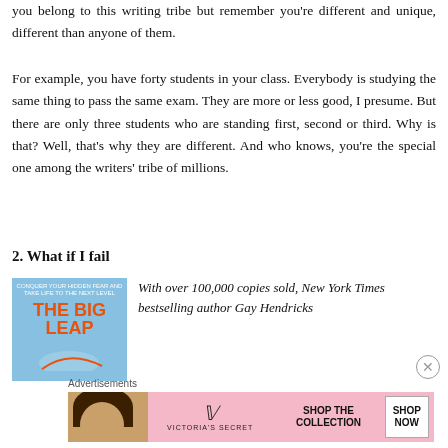you belong to this writing tribe but remember you're different and unique, different than anyone of them.
For example, you have forty students in your class. Everybody is studying the same thing to pass the same exam. They are more or less good, I presume. But there are only three students who are standing first, second or third. Why is that? Well, that's why they are different. And who knows, you're the special one among the writers' tribe of millions.
2. What if I fail
[Figure (illustration): Book cover for 'The Big Leap' with blue background and orange title text]
With over 100,000 copies sold, New York Times bestselling author Gay Hendricks
[Figure (advertisement): Victoria's Secret advertisement banner with pink background, model photo, 'SHOP THE COLLECTION' text and 'SHOP NOW' button]
Advertisements